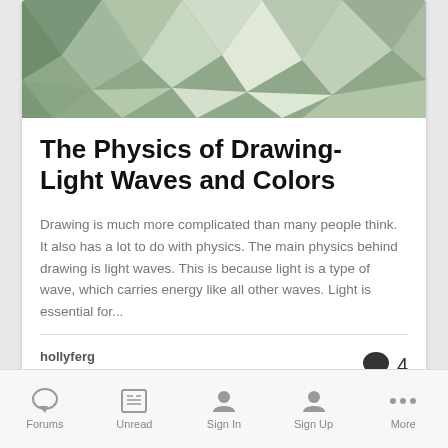[Figure (illustration): Low-poly geometric background image in muted green and grey tones used as article header image]
The Physics of Drawing- Light Waves and Colors
Drawing is much more complicated than many people think. It also has a lot to do with physics. The main physics behind drawing is light waves. This is because light is a type of wave, which carries energy like all other waves. Light is essential for...
hollyferg
April 23, 2013
Forums   Unread   Sign In   Sign Up   More